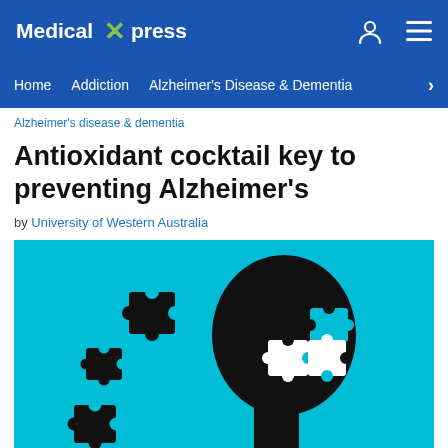Medical Xpress
Home  Addiction  Alzheimer's Disease & Dementia
Alzheimer's disease & dementia
Antioxidant cocktail key to preventing Alzheimer's
by University of Western Australia
[Figure (illustration): Illustration of a black silhouette of a human head profile against a cyan/blue background, with puzzle pieces missing from the brain area and floating puzzle pieces around the head, symbolizing Alzheimer's disease and memory loss.]